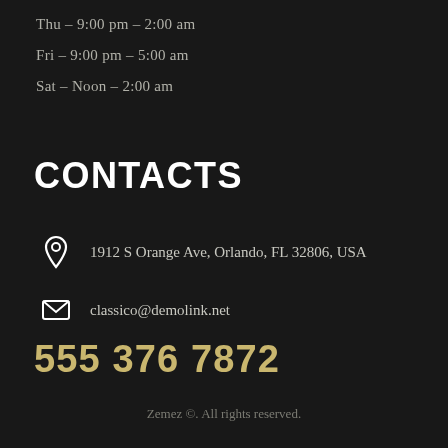Thu – 9:00 pm – 2:00 am
Fri – 9:00 pm – 5:00 am
Sat – Noon – 2:00 am
CONTACTS
1912 S Orange Ave, Orlando, FL 32806, USA
classico@demolink.net
555 376 7872
Zemez ©. All rights reserved.